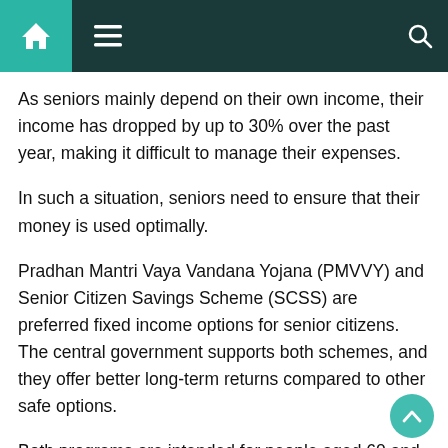Navigation bar with home, menu, and search icons
As seniors mainly depend on their own income, their income has dropped by up to 30% over the past year, making it difficult to manage their expenses.
In such a situation, seniors need to ensure that their money is used optimally.
Pradhan Mantri Vaya Vandana Yojana (PMVVY) and Senior Citizen Savings Scheme (SCSS) are preferred fixed income options for senior citizens. The central government supports both schemes, and they offer better long-term returns compared to other safe options.
Both programs are intended for people aged 60 and over. The SCSS offers age-related relaxation in certain cases. For example, retired employees over 55 and under 60 can invest in it, provided that the investment is made within one month